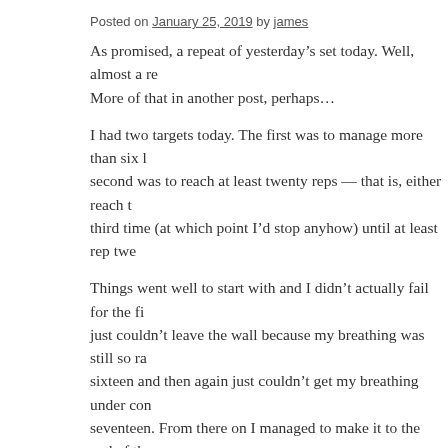Posted on January 25, 2019 by james
As promised, a repeat of yesterday’s set today. Well, almost a re… More of that in another post, perhaps…
I had two targets today. The first was to manage more than six l… second was to reach at least twenty reps — that is, either reach t… third time (at which point I’d stop anyhow) until at least rep twe…
Things went well to start with and I didn’t actually fail for the fi… just couldn’t leave the wall because my breathing was still so ra… sixteen and then again just couldn’t get my breathing under con… seventeen. From there on I managed to make it to the end of the… being quite ragged over the last two.
Here’s hoping that next time I can make over halfway before th…
USRPT distance this year: 25,950m
Total distance this year: 25,950m